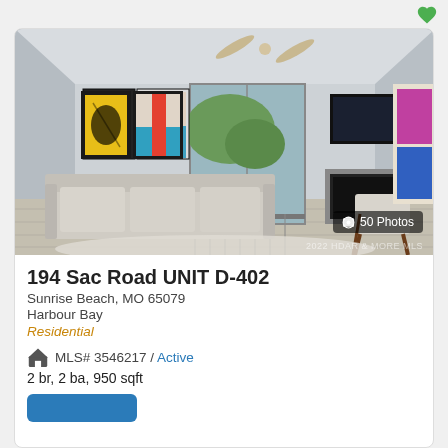[Figure (photo): Interior photo of a modern living room with gray sofa, colorful wall art, ceiling fan, sliding glass door to balcony, fireplace, wall-mounted TV, and mid-century modern chairs on light hardwood floors.]
50 Photos
194 Sac Road UNIT D-402
Sunrise Beach, MO 65079
Harbour Bay
Residential
MLS# 3546217 / Active
2 br, 2 ba, 950 sqft